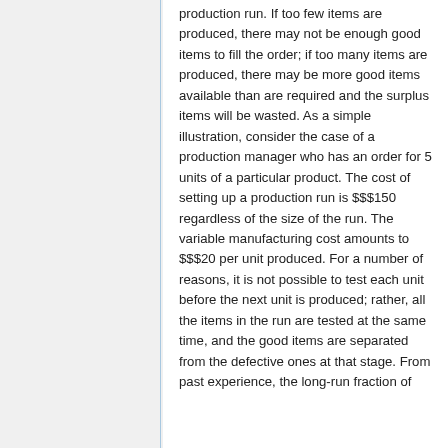production run. If too few items are produced, there may not be enough good items to fill the order; if too many items are produced, there may be more good items available than are required and the surplus items will be wasted. As a simple illustration, consider the case of a production manager who has an order for 5 units of a particular product. The cost of setting up a production run is $$$150 regardless of the size of the run. The variable manufacturing cost amounts to $$$20 per unit produced. For a number of reasons, it is not possible to test each unit before the next unit is produced; rather, all the items in the run are tested at the same time, and the good items are separated from the defective ones at that stage. From past experience, the long-run fraction of